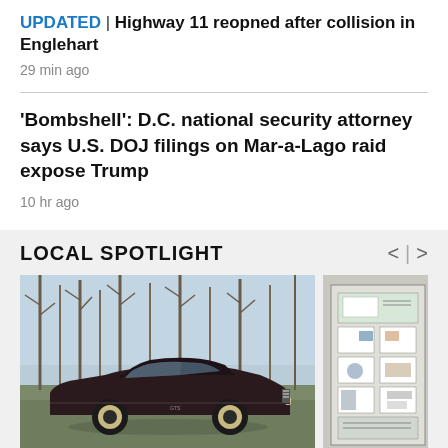UPDATED | Highway 11 reopned after collision in Englehart
29 min ago
'Bombshell': D.C. national security attorney says U.S. DOJ filings on Mar-a-Lago raid expose Trump
10 hr ago
LOCAL SPOTLIGHT
[Figure (photo): A dark purple/maroon muscle car parked outdoors with bare trees in background]
[Figure (photo): A framed display board with various items pinned on it, partially visible]